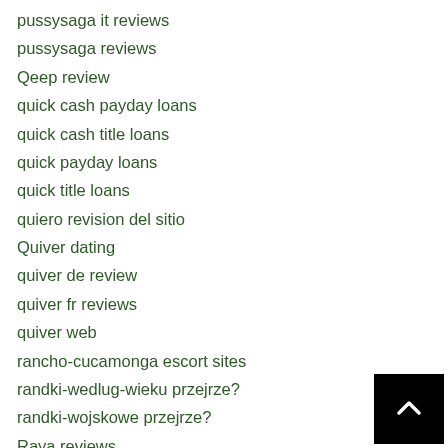pussysaga it reviews
pussysaga reviews
Qeep review
quick cash payday loans
quick cash title loans
quick payday loans
quick title loans
quiero revision del sitio
Quiver dating
quiver de review
quiver fr reviews
quiver web
rancho-cucamonga escort sites
randki-wedlug-wieku przejrze?
randki-wojskowe przejrze?
Raya reviews
realrussianbrides.net russian mail order bride reddit
redhead-dating review